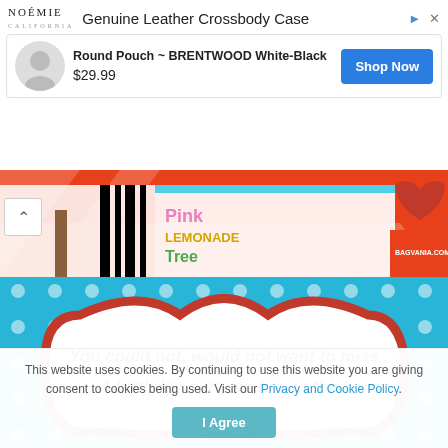[Figure (screenshot): NOÉMIE advertisement banner showing 'Genuine Leather Crossbody Case', product 'Round Pouch ~ BRENTWOOD White-Black' priced at $29.99 with a 'Shop Now' button]
[Figure (photo): Pink Lemonade Tree chevron banner with BAGVANIA.COM branding]
[Figure (illustration): Blue polka dot background with red decorative border and text: 'You could not, would not want to miss A birthday party as fun as this!']
This website uses cookies. By continuing to use this website you are giving consent to cookies being used. Visit our Privacy and Cookie Policy.